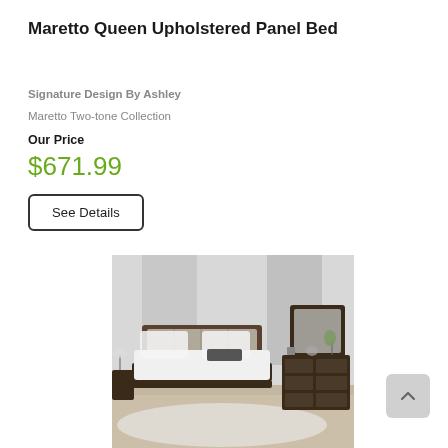Maretto Queen Upholstered Panel Bed
Signature Design By Ashley
Maretto Two-tone Collection
Our Price
$671.99
See Details
[Figure (photo): Bedroom set photo showing the Maretto Queen Upholstered Panel Bed in a styled room, with dresser, mirror, and nightstand in grey/brown two-tone finish, white bedding, on a white rug.]